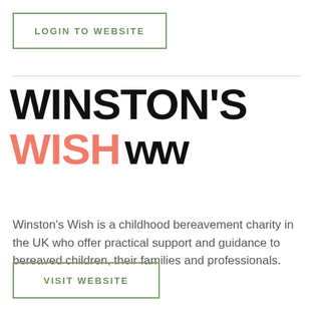LOGIN TO WEBSITE
[Figure (logo): Winston's Wish logo with large bold text 'WINSTON'S' in black and 'WISH' in coral/salmon color, followed by stylized 'Ww' symbol in black]
Winston's Wish is a childhood bereavement charity in the UK who offer practical support and guidance to bereaved children, their families and professionals.
VISIT WEBSITE